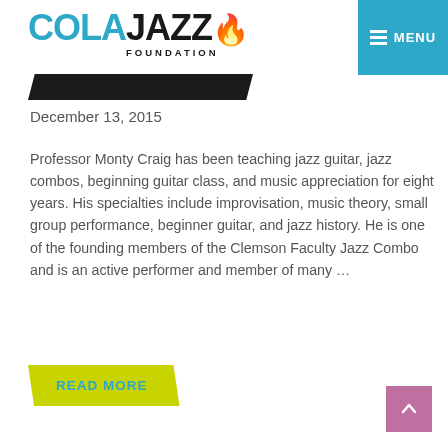COLAJAZZ FOUNDATION — MENU
[Figure (illustration): Diagonal dark parallelogram/banner shape beneath the logo]
December 13, 2015
Professor Monty Craig has been teaching jazz guitar, jazz combos, beginning guitar class, and music appreciation for eight years. His specialties include improvisation, music theory, small group performance, beginner guitar, and jazz history. He is one of the founding members of the Clemson Faculty Jazz Combo and is an active performer and member of many …
READ MORE